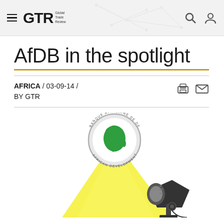GTR Global Trade Review
AfDB in the spotlight
AFRICA / 03-09-14 / BY GTR
[Figure (illustration): Illustration of a spotlight lamp shining upward, with the African Development Bank (BANQUE AFRICAINE DE DEVELOPPEMENT / AFRICAN DEVELOPMENT BANK) circular logo shown in the beam of light. The logo features a green silhouette of Africa on a white background with a gray/silver circular border and text.]